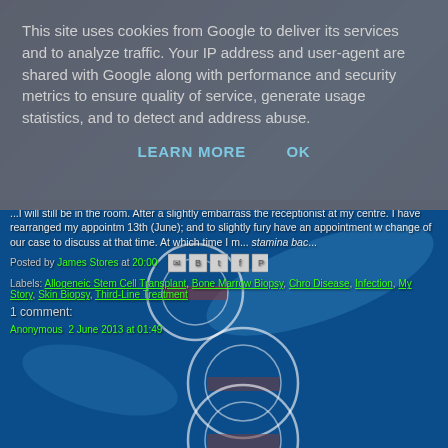This site uses cookies from Google to deliver its services and to analyze traffic. Your IP address and user-agent are shared with Google along with performance and security metrics to ensure quality of service, generate usage statistics, and to detect and address abuse.
LEARN MORE    OK
[Figure (photo): Blue technology/DNA background with glowing spheres and circular ripple patterns]
...I will still be in the room. After a slightly embarrassing the receptionist at my centre. I have rearranged my appointment. 13th (June); and to slightly fury have an appointment with change of our case to discuss at that time. At which time I m... stamina bac...
Posted by James Stores at 20:00
Labels: Allogeneic Stem Cell Transplant, Bone Marrow Biopsy, Chronic Disease, Infection, My Story, Skin Biopsy, Third-Line Treatment
1 comment:
Anonymous 2 June 2013 at 01:49